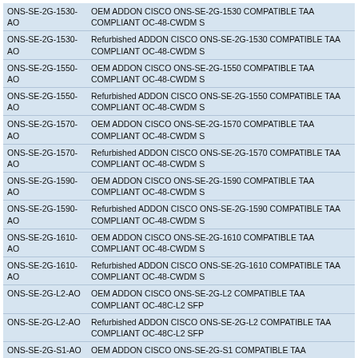| Part Number | Description |
| --- | --- |
| ONS-SE-2G-1530-AO | OEM ADDON CISCO ONS-SE-2G-1530 COMPATIBLE TAA COMPLIANT OC-48-CWDM S |
| ONS-SE-2G-1530-AO | Refurbished ADDON CISCO ONS-SE-2G-1530 COMPATIBLE TAA COMPLIANT OC-48-CWDM S |
| ONS-SE-2G-1550-AO | OEM ADDON CISCO ONS-SE-2G-1550 COMPATIBLE TAA COMPLIANT OC-48-CWDM S |
| ONS-SE-2G-1550-AO | Refurbished ADDON CISCO ONS-SE-2G-1550 COMPATIBLE TAA COMPLIANT OC-48-CWDM S |
| ONS-SE-2G-1570-AO | OEM ADDON CISCO ONS-SE-2G-1570 COMPATIBLE TAA COMPLIANT OC-48-CWDM S |
| ONS-SE-2G-1570-AO | Refurbished ADDON CISCO ONS-SE-2G-1570 COMPATIBLE TAA COMPLIANT OC-48-CWDM S |
| ONS-SE-2G-1590-AO | OEM ADDON CISCO ONS-SE-2G-1590 COMPATIBLE TAA COMPLIANT OC-48-CWDM S |
| ONS-SE-2G-1590-AO | Refurbished ADDON CISCO ONS-SE-2G-1590 COMPATIBLE TAA COMPLIANT OC-48-CWDM S |
| ONS-SE-2G-1610-AO | OEM ADDON CISCO ONS-SE-2G-1610 COMPATIBLE TAA COMPLIANT OC-48-CWDM S |
| ONS-SE-2G-1610-AO | Refurbished ADDON CISCO ONS-SE-2G-1610 COMPATIBLE TAA COMPLIANT OC-48-CWDM S |
| ONS-SE-2G-L2-AO | OEM ADDON CISCO ONS-SE-2G-L2 COMPATIBLE TAA COMPLIANT OC-48C-L2 SFP |
| ONS-SE-2G-L2-AO | Refurbished ADDON CISCO ONS-SE-2G-L2 COMPATIBLE TAA COMPLIANT OC-48C-L2 SFP |
| ONS-SE-2G-S1-AO | OEM ADDON CISCO ONS-SE-2G-S1 COMPATIBLE TAA COMPLIANT OC-48C-SR SFP |
| ONS-SE-2G-S1-AO | Refurbished ADDON CISCO ONS-SE-2G-S1 COMPATIBLE TAA COMPLIANT OC-48C-SR SFP |
| ONS-SE-4G-MM-AO | OEM ADDON CISCO ONS-SE-4G-MM COMPATIBLE TAA COMPLIANT 4GBS FIBRE CHA |
| ONS-SE-4G-MM-AO | Refurbished ADDON CISCO ONS-SE-4G-MM COMPATIBLE TAA COMPLIANT 4GBS FIBRE CHA |